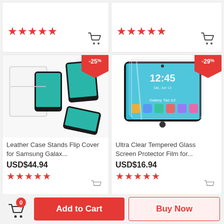[Figure (screenshot): Top portion of two product cards showing red star ratings and shopping cart icons, partially visible from the row above.]
[Figure (photo): Product image of a white leather flip case/stand for Samsung Galaxy tablet, showing multiple views.]
-25%
Leather Case Stands Flip Cover for Samsung Galax...
USD$44.94
[Figure (photo): Product image of Ultra Clear Tempered Glass Screen Protector Film shown over a Samsung Galaxy Tab S2 tablet.]
-29%
Ultra Clear Tempered Glass Screen Protector Film for...
USD$16.94
Add to Cart
Buy Now